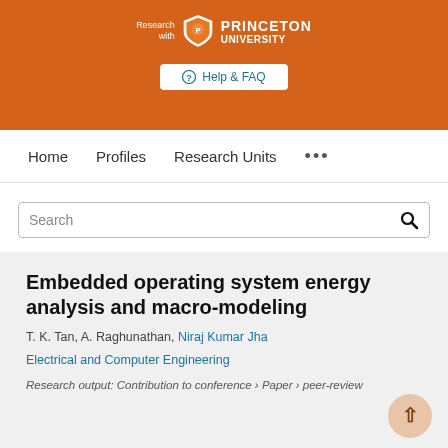[Figure (logo): Research with Princeton University logo on orange banner with Help & FAQ button]
Home   Profiles   Research Units   ...
Search
Embedded operating system energy analysis and macro-modeling
T. K. Tan, A. Raghunathan, Niraj Kumar Jha
Electrical and Computer Engineering
Research output: Contribution to conference › Paper › peer-review